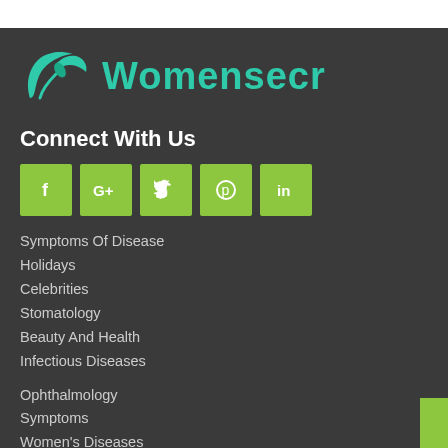[Figure (logo): Womensecr logo with teal leaf illustration and teal text 'Womensecr']
Connect With Us
[Figure (infographic): Row of 5 green social media icon buttons: Facebook (f), Google+ (G+), Twitter (bird), Pinterest (circle P), LinkedIn (in)]
Symptoms Of Disease
Holidays
Celebrities
Stomatology
Beauty And Health
Infectious Diseases
Ophthalmology
Symptoms
Women's Diseases